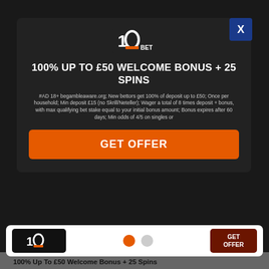[Figure (screenshot): 10bet logo - stylized number 10 with BET text in white on dark background]
100% UP TO £50 WELCOME BONUS + 25 SPINS
#AD 18+ begambleaware.org; New bettors get 100% of deposit up to £50; Once per household; Min deposit £15 (no Skrill/Neteller); Wager a total of 8 times deposit + bonus, with max qualifying bet stake equal to your initial bonus amount; Bonus expires after 60 days; Min odds of 4/5 on singles or
GET OFFER
100% Up To £50 Welcome Bonus + 25 Spins
[Figure (logo): 888sport logo in orange rounded rectangle]
Bet £10 & Get £30 In Free Bets + £10 Bonus
GET OFFER
This website uses cookies
Cookies help us and our partners provide statistics. By browsing this website, you consent to the use of cookies in accordance with our Cookies Policy.
Accept & Close